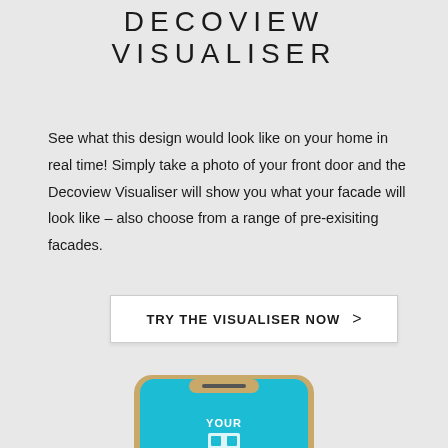DECOVIEW
VISUALISER
See what this design would look like on your home in real time! Simply take a photo of your front door and the Decoview Visualiser will show you what your facade will look like – also choose from a range of pre-exisiting facades.
TRY THE VISUALISER NOW >
[Figure (illustration): Bottom portion of a smartphone showing a teal/blue screen with the Decoview Visualiser app interface, displaying 'YOUR' text and a QR code icon]